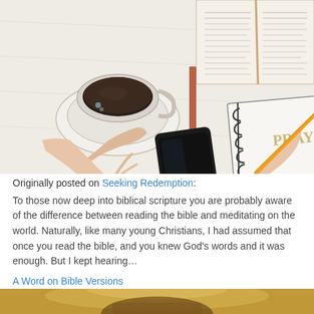[Figure (photo): Overhead view of a person holding a coffee cup with saucer, an open Bible, a black smartphone, small dried flowers, and a spiral notebook with the word 'PRAY' being written with a yellow pencil, all on a white textured surface.]
Originally posted on Seeking Redemption:
To those now deep into biblical scripture you are probably aware of the difference between reading the bible and meditating on the world. Naturally, like many young Christians, I had assumed that once you read the bible, and you knew God's words and it was enough. But I kept hearing…
A Word on Bible Versions
[Figure (photo): Partial view of a photo at the bottom of the page, showing a person with warm/yellow tones, cropped.]